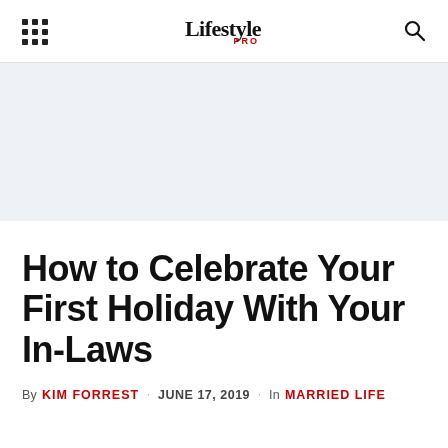Lifestyle PRO
[Figure (other): Light blue-grey advertisement banner placeholder area]
How to Celebrate Your First Holiday With Your In-Laws
By KIM FORREST · JUNE 17, 2019 · In MARRIED LIFE